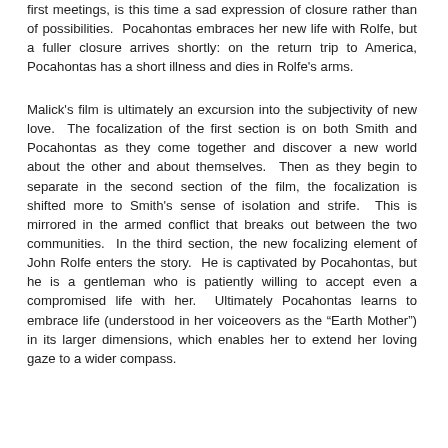first meetings, is this time a sad expression of closure rather than of possibilities. Pocahontas embraces her new life with Rolfe, but a fuller closure arrives shortly: on the return trip to America, Pocahontas has a short illness and dies in Rolfe's arms.
Malick's film is ultimately an excursion into the subjectivity of new love. The focalization of the first section is on both Smith and Pocahontas as they come together and discover a new world about the other and about themselves. Then as they begin to separate in the second section of the film, the focalization is shifted more to Smith's sense of isolation and strife. This is mirrored in the armed conflict that breaks out between the two communities. In the third section, the new focalizing element of John Rolfe enters the story. He is captivated by Pocahontas, but he is a gentleman who is patiently willing to accept even a compromised life with her. Ultimately Pocahontas learns to embrace life (understood in her voiceovers as the “Earth Mother”) in its larger dimensions, which enables her to extend her loving gaze to a wider compass.